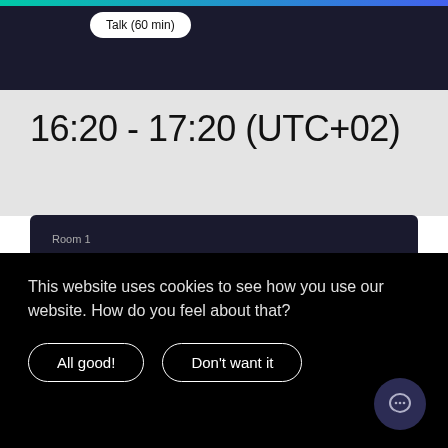Talk (60 min)
16:20 - 17:20 (UTC+02)
Room 1
Web performance APIs you (probably) didn't know existed
This website uses cookies to see how you use our website. How do you feel about that?
All good!
Don't want it